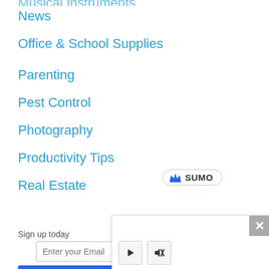Musical Instruments
News
Office & School Supplies
Parenting
Pest Control
Photography
Productivity Tips
Real Estate
[Figure (logo): Sumo badge/logo with crown icon]
Sign up today
Enter your Email
[Figure (screenshot): White modal overlay with close button (X) and media controls (play and mute buttons)]